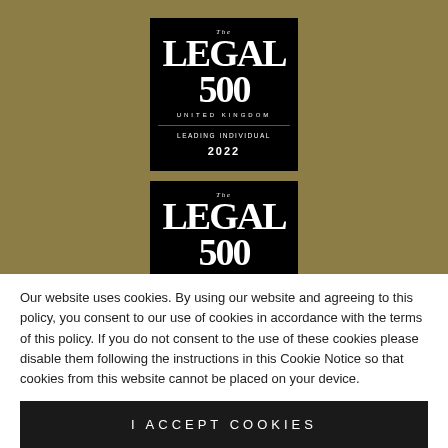[Figure (logo): The Legal 500 United Kingdom Leading Individual 2022 badge - black background with white text]
[Figure (logo): The Legal 500 United Kingdom Next Generation Partner 2022 badge - black background with white text]
[Figure (logo): Chambers Top Ranked badge - white background with blue text and laurel leaves]
Our website uses cookies. By using our website and agreeing to this policy, you consent to our use of cookies in accordance with the terms of this policy. If you do not consent to the use of these cookies please disable them following the instructions in this Cookie Notice so that cookies from this website cannot be placed on your device.
I ACCEPT COOKIES